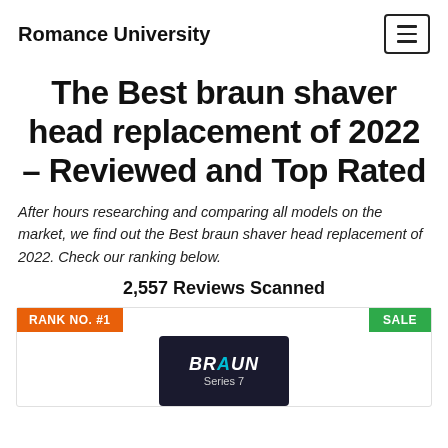Romance University
The Best braun shaver head replacement of 2022 – Reviewed and Top Rated
After hours researching and comparing all models on the market, we find out the Best braun shaver head replacement of 2022. Check our ranking below.
2,557 Reviews Scanned
[Figure (photo): Product card showing RANK NO. #1 badge in orange on the left and SALE badge in green on the right. Below is a product image of a Braun Series 7 shaver head replacement package on a dark background.]